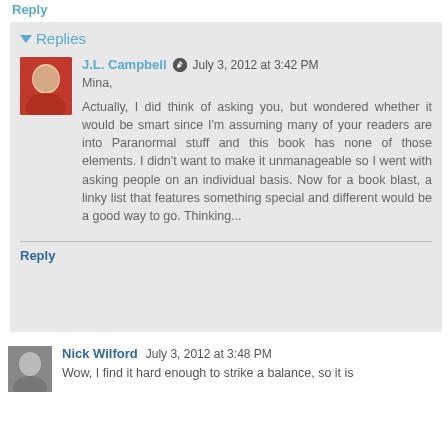Reply
Replies
J.L. Campbell  July 3, 2012 at 3:42 PM
Mina,
Actually, I did think of asking you, but wondered whether it would be smart since I'm assuming many of your readers are into Paranormal stuff and this book has none of those elements. I didn't want to make it unmanageable so I went with asking people on an individual basis. Now for a book blast, a linky list that features something special and different would be a good way to go. Thinking...
Reply
Nick Wilford  July 3, 2012 at 3:48 PM
Wow, I find it hard enough to strike a balance, so it is